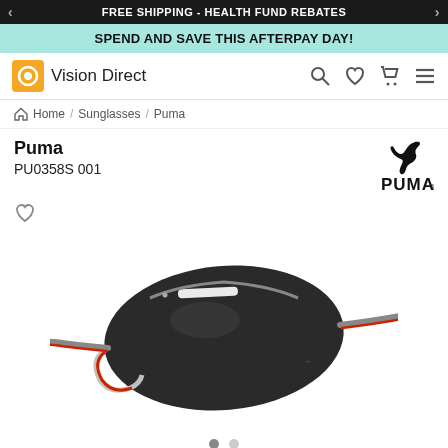FREE SHIPPING - HEALTH FUND REBATES
SPEND AND SAVE THIS AFTERPAY DAY!
[Figure (logo): Vision Direct logo with orange circular icon and text]
Home / Sunglasses / Puma
Puma
PU0358S 001
[Figure (logo): Puma brand logo with leaping cat silhouette and PUMA text]
[Figure (photo): Puma PU0358S 001 sunglasses - sporty shield style with dark smoke lens, black frame with white and red accents on temples]
Available Colors